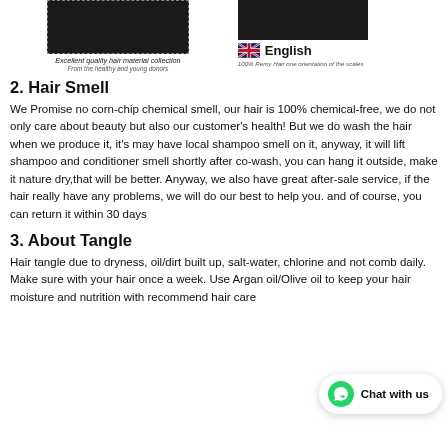[Figure (photo): Two hair collection images at the top: left shows dark hair with dashed border, right shows dark hair without border, with UK flag and English label]
Excellent quality hair material collection
From the healthy and young donors
English
100% Remy Hair one orientation of the scales
2. Hair Smell
We Promise no corn-chip chemical smell, our hair is 100% chemical-free, we do not only care about beauty but also our customer's health! But we do wash the hair when we produce it, it's may have local shampoo smell on it, anyway, it will lift shampoo and conditioner smell shortly after co-wash, you can hang it outside, make it nature dry,that will be better. Anyway, we also have great after-sale service, if the hair really have any problems, we will do our best to help you. and of course, you can return it within 30 days
3. About Tangle
Hair tangle due to dryness, oil/dirt built up, salt-water, chlorine and not comb daily. Make sure w... with your hair once a week. Use Argan oil/Olive oil to keep your hair moisture and nutrition with recommend hair care...